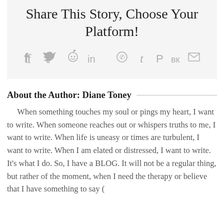Share This Story, Choose Your Platform!
[Figure (infographic): Row of social sharing icons: Facebook, Twitter, Reddit, LinkedIn, WhatsApp, Tumblr, Pinterest, VK, Email]
About the Author: Diane Toney
When something touches my soul or pings my heart, I want to write. When someone reaches out or whispers truths to me, I want to write. When life is uneasy or times are turbulent, I want to write. When I am elated or distressed, I want to write. It's what I do. So, I have a BLOG. It will not be a regular thing, but rather of the moment, when I need the therapy or believe that I have something to say (